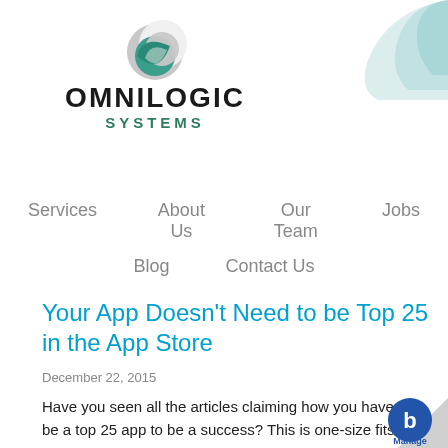[Figure (logo): Omnilogic Systems logo with crescent moon graphic in teal and grey above the text OMNILOGIC SYSTEMS]
Services   About Us   Our Team   Jobs   Blog   Contact Us
Your App Doesn’t Need to be Top 25 in the App Store
December 22, 2015
Have you seen all the articles claiming how you have to be a top 25 app to be a success? This is one-size fits all advice of the worst kind. I’m here to tell you the o... Your app doesn’t have to be the most download... the app store.